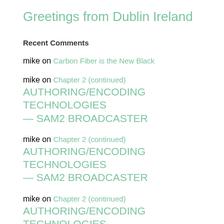Greetings from Dublin Ireland
Recent Comments
mike on Carbon Fiber is the New Black
mike on Chapter 2 (continued) AUTHORING/ENCODING TECHNOLOGIES — SAM2 BROADCASTER
mike on Chapter 2 (continued) AUTHORING/ENCODING TECHNOLOGIES — SAM2 BROADCASTER
mike on Chapter 2 (continued) AUTHORING/ENCODING TECHNOLOGIES